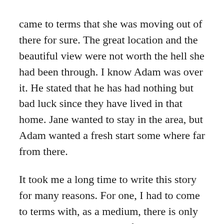came to terms that she was moving out of there for sure. The great location and the beautiful view were not worth the hell she had been through. I know Adam was over it. He stated that he has had nothing but bad luck since they have lived in that home. Jane wanted to stay in the area, but Adam wanted a fresh start some where far from there.
It took me a long time to write this story for many reasons. For one, I had to come to terms with, as a medium, there is only so much I can do. I am a fixer and a doer by nature, but not everything can be fixed and I can't do anything about it. Not all investigations or readings are going to have a happy ending. Also, I might not be able to give my clients the closure they need. All I can do is...